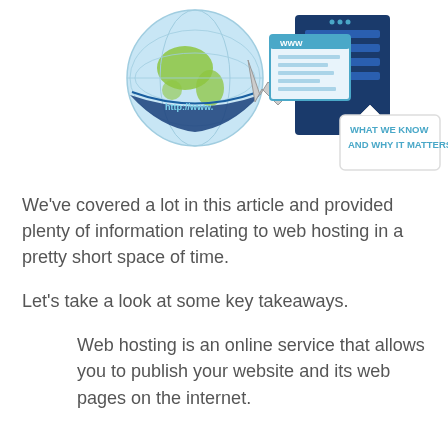[Figure (illustration): Illustration of a globe with 'http://www.' banner, a cursor arrow, and server/web pages with a label reading 'WHAT WE KNOW AND WHY IT MATTERS?']
We've covered a lot in this article and provided plenty of information relating to web hosting in a pretty short space of time.
Let's take a look at some key takeaways.
Web hosting is an online service that allows you to publish your website and its web pages on the internet.